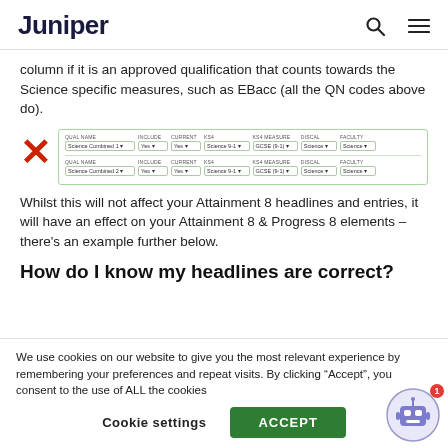Juniper
column if it is an approved qualification that counts towards the Science specific measures, such as EBacc (all the QN codes above do).
[Figure (screenshot): Screenshot of a form showing two rows with fields: Qual Name (Science Combined 1 / Science Combined 2), Include (Yes), Current (Yes), KS4 (Science 9-1), KS4 Measure (GCSE (9-1)), Discal (Science), Faculty (Science). A red X mark is shown to the left indicating an error.]
Whilst this will not affect your Attainment 8 headlines and entries, it will have an effect on your Attainment 8 & Progress 8 elements – there's an example further below.
How do I know my headlines are correct?
We use cookies on our website to give you the most relevant experience by remembering your preferences and repeat visits. By clicking “Accept”, you consent to the use of ALL the cookies
Cookie settings  ACCEPT